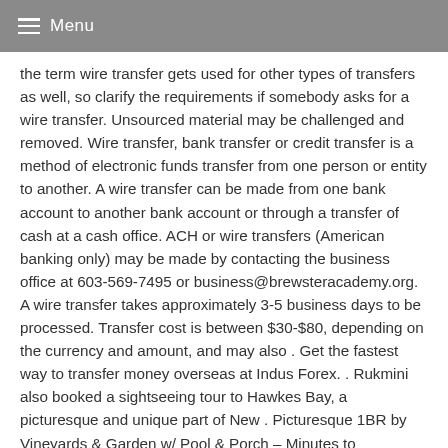Menu
the term wire transfer gets used for other types of transfers as well, so clarify the requirements if somebody asks for a wire transfer. Unsourced material may be challenged and removed. Wire transfer, bank transfer or credit transfer is a method of electronic funds transfer from one person or entity to another. A wire transfer can be made from one bank account to another bank account or through a transfer of cash at a cash office. ACH or wire transfers (American banking only) may be made by contacting the business office at 603-569-7495 or business@brewsteracademy.org. A wire transfer takes approximately 3-5 business days to be processed. Transfer cost is between $30-$80, depending on the currency and amount, and may also . Get the fastest way to transfer money overseas at Indus Forex. . Rukmini also booked a sightseeing tour to Hawkes Bay, a picturesque and unique part of New . Picturesque 1BR by Vineyards & Garden w/ Pool & Porch – Minutes to Downtown. Overview . Never pay for your vacation rental by wire transfer. Learn more . Cute 2 bed cottage next to the water in picturesque Newton Ferrers Devon. Overview; Reviews Never pay for your holiday rental by wire transfer. Learn more . How to Use Wire Transfer. . The picturesque multi-cuisine restaurant dishes out outstanding menu from all over the world. The restful atmosphere of the